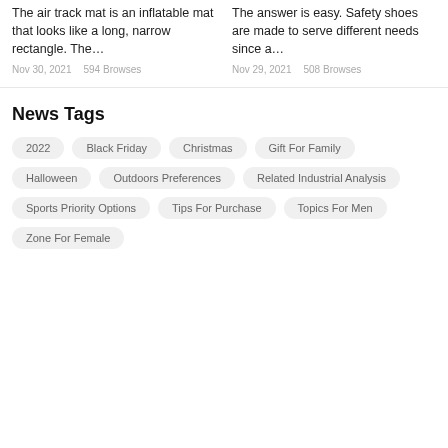The air track mat is an inflatable mat that looks like a long, narrow rectangle. The…
Nov 30, 2021   594 Browses
The answer is easy. Safety shoes are made to serve different needs since a…
Nov 29, 2021   508 Browses
News Tags
2022
Black Friday
Christmas
Gift For Family
Halloween
Outdoors Preferences
Related Industrial Analysis
Sports Priority Options
Tips For Purchase
Topics For Men
Zone For Female